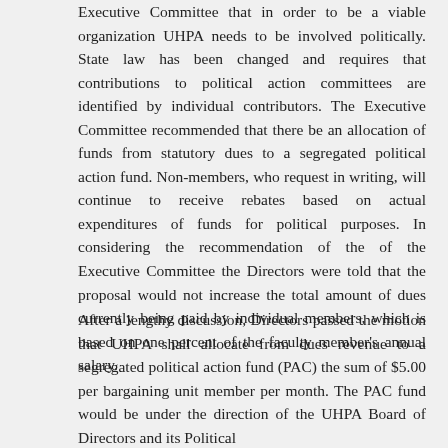Executive Committee that in order to be a viable organization UHPA needs to be involved politically. State law has been changed and requires that contributions to political action committees are identified by individual contributors. The Executive Committee recommended that there be an allocation of funds from statutory dues to a segregated political action fund. Non-members, who request in writing, will continue to receive rebates based on actual expenditures of funds for political purposes. In considering the recommendation of the of the Executive Committee the Directors were told that the proposal would not increase the total amount of dues currently being paid by individual members, which is based on one percent of the faculty member's annual salary.
After a lengthy discussion, Directors passed the motion that UHPA shall allocate from dues revenue to a segregated political action fund (PAC) the sum of $5.00 per bargaining unit member per month. The PAC fund would be under the direction of the UHPA Board of Directors and its Political